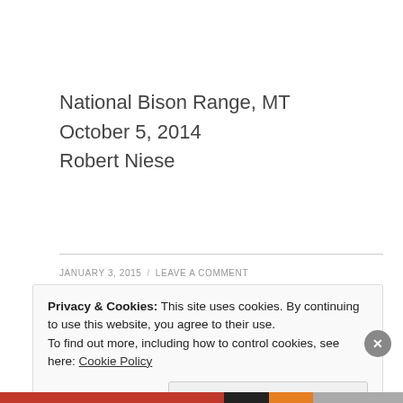National Bison Range, MT
October 5, 2014
Robert Niese
JANUARY 3, 2015 / LEAVE A COMMENT
Privacy & Cookies: This site uses cookies. By continuing to use this website, you agree to their use.
To find out more, including how to control cookies, see here: Cookie Policy
Close and accept